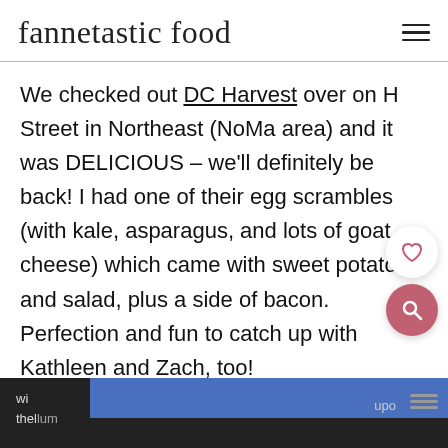fannetastic food
We checked out DC Harvest over on H Street in Northeast (NoMa area) and it was DELICIOUS – we'll definitely be back! I had one of their egg scrambles (with kale, asparagus, and lots of goat cheese) which came with sweet potatoes and salad, plus a side of bacon. Perfection and fun to catch up with Kathleen and Zach, too!
We spent the rest of the afternoon doing some yard work and relaxing, then headed up to Bethesda for another fun friend date – dinner wi... the...